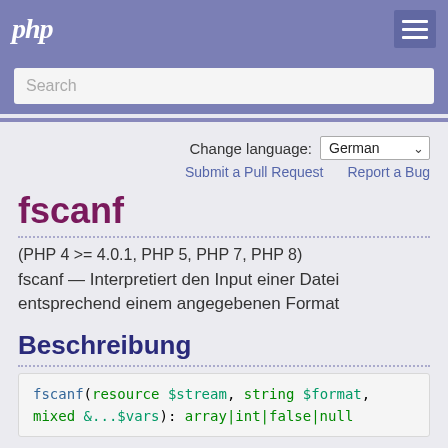php
Search
Change language: German
Submit a Pull Request   Report a Bug
fscanf
(PHP 4 >= 4.0.1, PHP 5, PHP 7, PHP 8)
fscanf — Interpretiert den Input einer Datei entsprechend einem angegebenen Format
Beschreibung
fscanf(resource $stream, string $format, mixed &...$vars): array|int|false|null